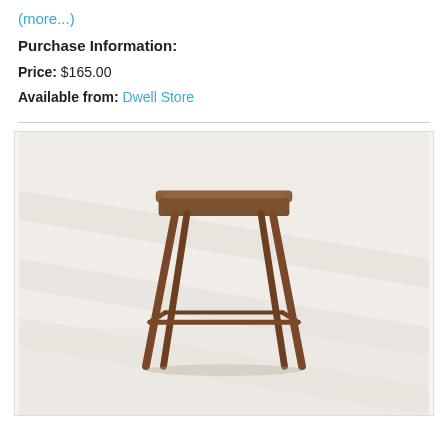(more...)
Purchase Information:
Price: $165.00
Available from: Dwell Store
[Figure (photo): A modern wooden bar stool with walnut finish, four tapered legs connected by stretcher bars, and a slightly contoured square seat, photographed against a light grey/white background with subtle shadows.]